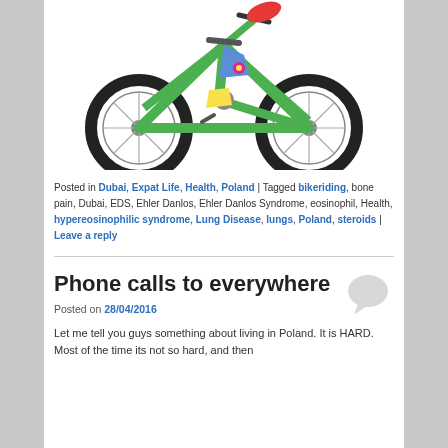[Figure (illustration): Cartoon illustration of a green mountain bike with large black tires, shown at an angle. A rider's red shoe is visible at the top, and a small pink flower decorates the bike frame.]
Posted in Dubai, Expat Life, Health, Poland | Tagged bikeriding, bone pain, Dubai, EDS, Ehler Danlos, Ehler Danlos Syndrome, eosinophil, Health, hypereosinophilic syndrome, Lung Disease, lungs, Poland, steroids | Leave a reply
Phone calls to everywhere
Posted on 28/04/2016
Let me tell you guys something about living in Poland. It is HARD. Most of the time its not so hard, and then